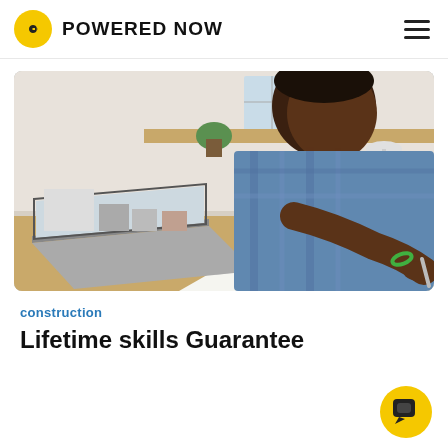POWERED NOW
[Figure (photo): Man in blue checkered shirt writing in a notebook at a desk with a laptop open to a website, a yellow book, a teal mug, and a small lamp in the background]
construction
Lifetime skills Guarantee